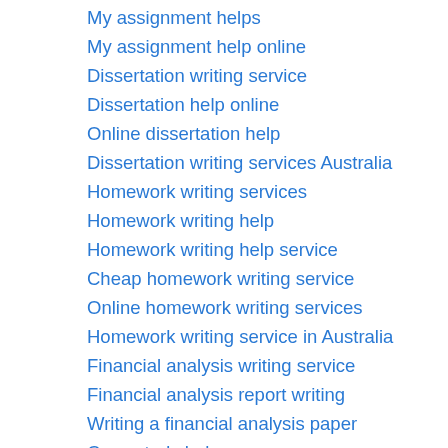My assignment helps
My assignment help online
Dissertation writing service
Dissertation help online
Online dissertation help
Dissertation writing services Australia
Homework writing services
Homework writing help
Homework writing help service
Cheap homework writing service
Online homework writing services
Homework writing service in Australia
Financial analysis writing service
Financial analysis report writing
Writing a financial analysis paper
Case study help
Custom case study help
Best case study help
Case study helper
Case study help online
Online case study help